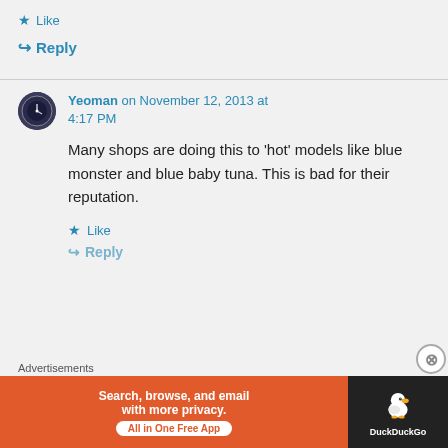Like
↪ Reply
Yeoman on November 12, 2013 at 4:17 PM
Many shops are doing this to 'hot' models like blue monster and blue baby tuna. This is bad for their reputation.
Like
↪ Reply
Advertisements
[Figure (other): DuckDuckGo advertisement banner: Search, browse, and email with more privacy. All in One Free App]